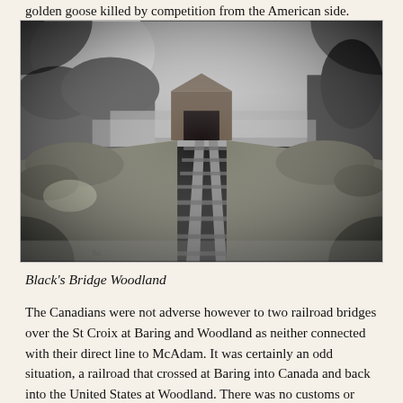golden goose killed by competition from the American side.
[Figure (photo): Black and white historical photograph of Black's Bridge Woodland showing railroad tracks leading toward a covered wooden bridge structure, with water and trees visible in the background. The image is taken from track level looking forward.]
Black's Bridge Woodland
The Canadians were not adverse however to two railroad bridges over the St Croix at Baring and Woodland as neither connected with their direct line to McAdam. It was certainly an odd situation, a railroad that crossed at Baring into Canada and back into the United States at Woodland. There was no customs or